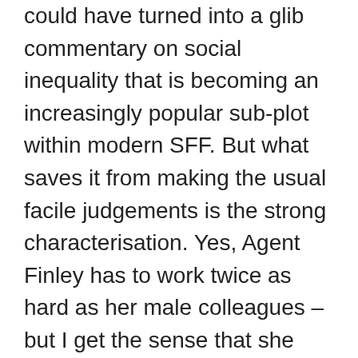could have turned into a glib commentary on social inequality that is becoming an increasingly popular sub-plot within modern SFF. But what saves it from making the usual facile judgements is the strong characterisation. Yes, Agent Finley has to work twice as hard as her male colleagues – but I get the sense that she would do, anyway, given her driven nature. And I also like the fact that our protagonist isn't all that sympathetic to the outbreaks of violence and demonstrations from an increasingly beleaguered fairy workforce. She's a law enforcement officer – of course she thinks they should find another way to express their dissatisfaction. Though she